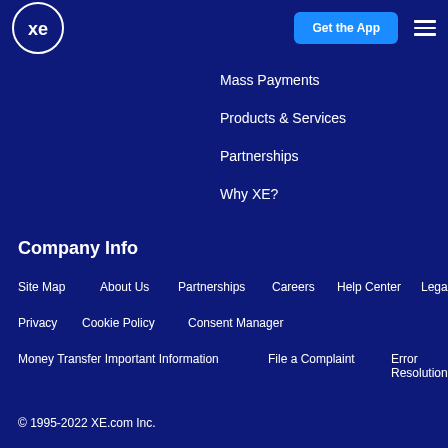XE | Get the App
Mass Payments
Products & Services
Partnerships
Why XE?
Company Info
Site Map
About Us
Partnerships
Careers
Help Center
Legal
Privacy
Cookie Policy
Consent Manager
Money Transfer Important Information
File a Complaint
Error Resolution
© 1995-2022 XE.com Inc.